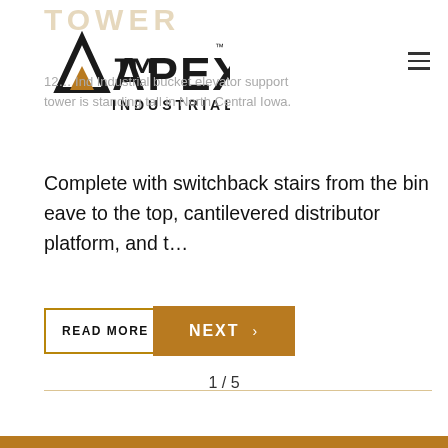TOWER
[Figure (logo): Apex Industrial logo with triangular icon and text APEX INDUSTRIAL in bold black]
12… Ind Industrial bucket elevator support tower is standing tall in North Central Iowa.
Complete with switchback stairs from the bin eave to the top, cantilevered distributor platform, and t…
READ MORE ▶
NEXT >
1 / 5